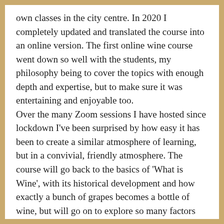own classes in the city centre. In 2020 I completely updated and translated the course into an online version. The first online wine course went down so well with the students, my philosophy being to cover the topics with enough depth and expertise, but to make sure it was entertaining and enjoyable too.
Over the many Zoom sessions I have hosted since lockdown I've been surprised by how easy it has been to create a similar atmosphere of learning, but in a convivial, friendly atmosphere. The course will go back to the basics of 'What is Wine', with its historical development and how exactly a bunch of grapes becomes a bottle of wine, but will go on to explore so many factors that go into wine, how so many different styles have developed, and how the 'Old World' and 'New World' differ. We'll also look at the concept of Natural...